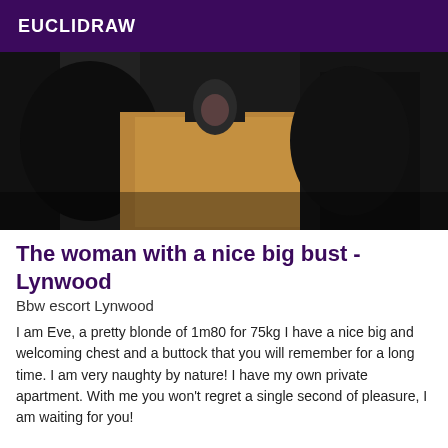EUCLIDRAW
[Figure (photo): Close-up photo of a person wearing black clothing/stockings on a leather surface, dark background]
The woman with a nice big bust - Lynwood
Bbw escort Lynwood
I am Eve, a pretty blonde of 1m80 for 75kg I have a nice big and welcoming chest and a buttock that you will remember for a long time. I am very naughty by nature! I have my own private apartment. With me you won't regret a single second of pleasure, I am waiting for you!